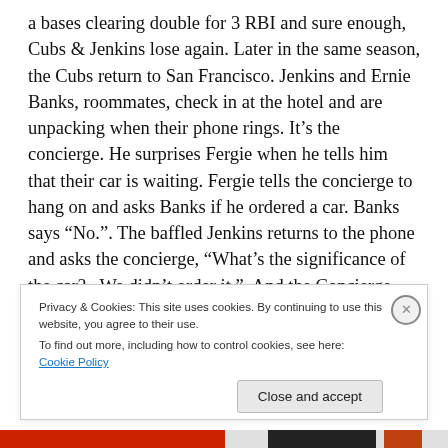a bases clearing double for 3 RBI and sure enough, Cubs & Jenkins lose again.  Later in the same season, the Cubs return to San Francisco.  Jenkins and Ernie Banks, roommates, check in at the hotel and are unpacking when their phone rings.  It’s the concierge.  He surprises Fergie when he tells him that their car is waiting.  Fergie tells the concierge to hang on and asks Banks if he ordered a car.  Banks says “No.”.  The baffled Jenkins returns to the phone and asks the concierge, “What’s the significance of the car?   We didn’t order it.”.  And the Concierge said, “Oh, Mr. McCovey wanted to make sure that Mr. Jenkins gets to the ballpark alright.  He paid for the limousine.”
Privacy & Cookies: This site uses cookies. By continuing to use this website, you agree to their use.
To find out more, including how to control cookies, see here: Cookie Policy